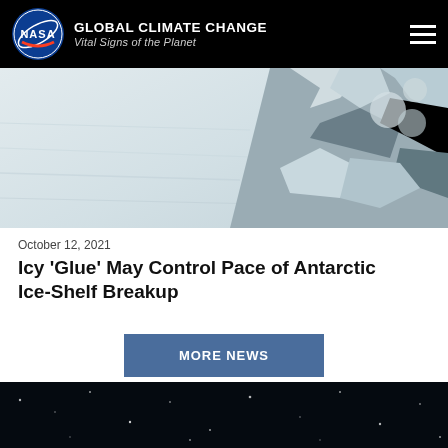NASA GLOBAL CLIMATE CHANGE Vital Signs of the Planet
[Figure (photo): Aerial satellite view of Antarctic ice shelf showing snow and ice formations from above]
October 12, 2021
Icy ‘Glue’ May Control Pace of Antarctic Ice-Shelf Breakup
MORE NEWS
[Figure (photo): Dark space background with scattered white dots/stars at the bottom of the page]